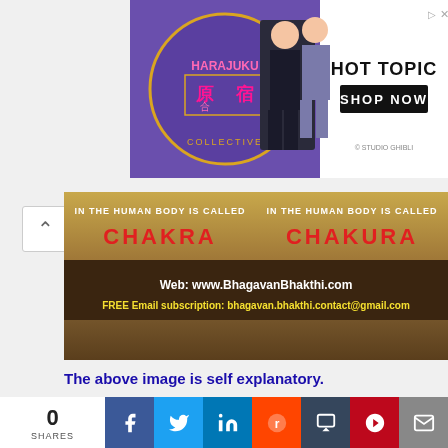[Figure (photo): Harajuku Collective advertisement banner with two anime-style figures and Hot Topic Shop Now button]
[Figure (infographic): Chakra banner: 'IN THE HUMAN BODY IS CALLED CHAKRA / CHAKURA' with website www.BhagavanBhakthi.com and FREE Email subscription: bhagavan.bhakthi.contact@gmail.com]
The above image is self explanatory.
[Figure (infographic): BhagavanBhakthi social media header and Japanese words originated from Sanskrit banner showing Lord Shiva – Daikoku-ten and Lord Ganesh – Kanki-ten, Sho-ten with deity images]
0 SHARES | Facebook | Twitter | LinkedIn | Reddit | Tumblr | Pinterest | Email